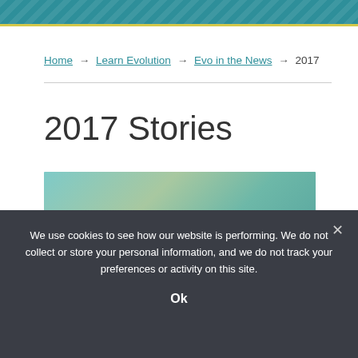Home → Learn Evolution → Evo in the News → 2017
2017 Stories
[Figure (photo): Teal and green gradient hero image]
We use cookies to see how our website is performing. We do not collect or store your personal information, and we do not track your preferences or activity on this site.
Ok